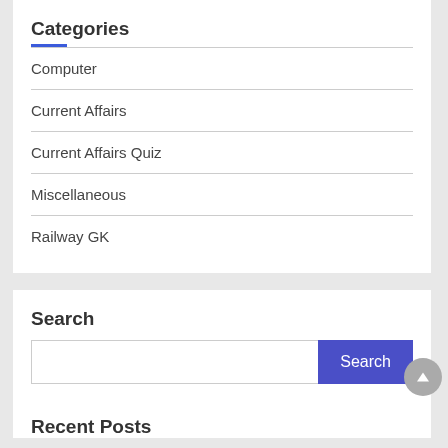Categories
Computer
Current Affairs
Current Affairs Quiz
Miscellaneous
Railway GK
Search
Recent Posts